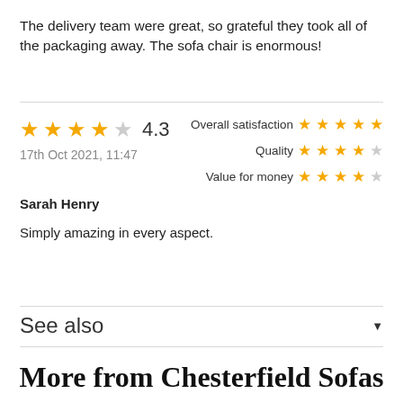The delivery team were great, so grateful they took all of the packaging away. The sofa chair is enormous!
★★★★☆ 4.3
17th Oct 2021, 11:47
Overall satisfaction ★★★★★
Quality ★★★★☆
Value for money ★★★★☆
Sarah Henry
Simply amazing in every aspect.
See also
More from Chesterfield Sofas